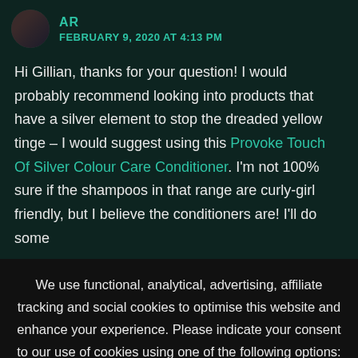AR
FEBRUARY 9, 2020 AT 4:13 PM
Hi Gillian, thanks for your question! I would probably recommend looking into products that have a silver element to stop the dreaded yellow tinge – I would suggest using this Provoke Touch Of Silver Colour Care Conditioner. I'm not 100% sure if the shampoos in that range are curly-girl friendly, but I believe the conditioners are! I'll do some
We use functional, analytical, advertising, affiliate tracking and social cookies to optimise this website and enhance your experience. Please indicate your consent to our use of cookies using one of the following options: Accept Reject Read More .